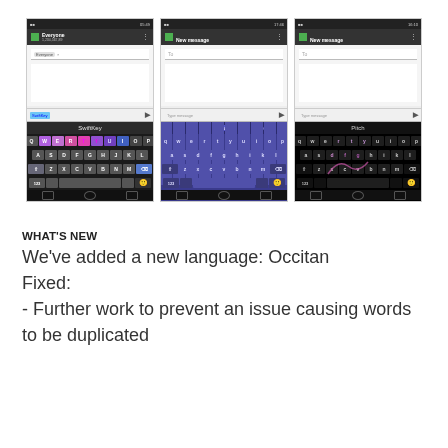[Figure (screenshot): Three Android smartphone screenshots showing SwiftKey keyboard app with different themes: SwiftKey (colorful/gradient), Dusk (dark blue/purple), and Pitch (black). Each screenshot shows a messaging compose screen at the top and the keyboard at the bottom.]
WHAT'S NEW
We've added a new language: Occitan
Fixed:
- Further work to prevent an issue causing words to be duplicated